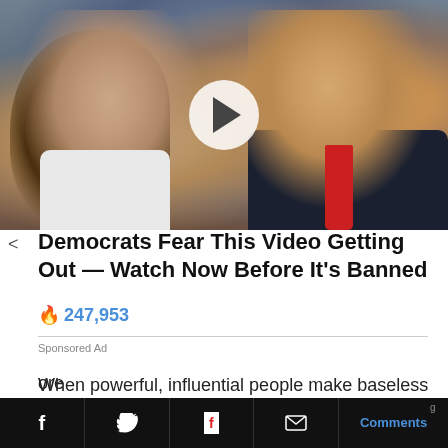[Figure (photo): Video thumbnail showing two people (a woman on the left with long hair in a white outfit, and a man on the right in a dark suit with a red tie) with a play button overlay in the center]
Democrats Fear This Video Getting Out — Watch Now Before It's Banned
🔥 247,953
Sponsored Ad
When powerful, influential people make baseless accusations of treason, they are sending a message to all Americans: if you dare to criticize the establishment's
f  [twitter]  [flipboard]  [mail]  Comments  ore